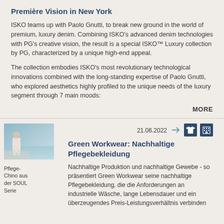Première Vision in New York
ISKO teams up with Paolo Gnutti, to break new ground in the world of premium, luxury denim. Combining ISKO's advanced denim technologies with PG's creative vision, the result is a special ISKO™ Luxury collection by PG, characterized by a unique high-end appeal.
The collection embodies ISKO's most revolutionary technological innovations combined with the long-standing expertise of Paolo Gnutti, who explored aesthetics highly profiled to the unique needs of the luxury segment through 7 main moods:
MORE
[Figure (photo): Thumbnail photo of a person in white clothing, sitting outdoors near water]
Pflege-Chino aus der SOUL Serie
21.06.2022
Green Workwear: Nachhaltige Pflegebekleidung
Nachhaltige Produktion und nachhaltige Gewebe - so präsentiert Green Workwear seine nachhaltige Pflegebekleidung, die die Anforderungen an industrielle Wäsche, lange Lebensdauer und ein überzeugendes Preis-Leistungsverhältnis verbinden